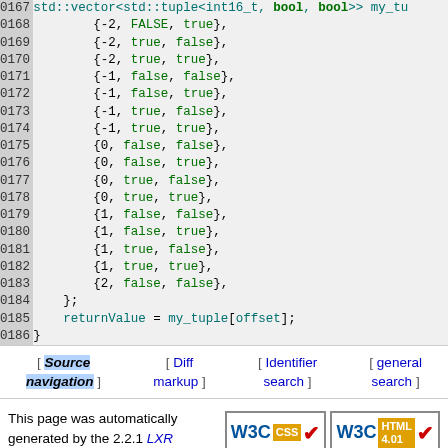Code listing lines 0167-0186 showing a std::vector of std::tuple<int16_t, bool, bool> with boolean value combinations, then returnValue = my_tuple[offset];
[ Source navigation ] [ Diff markup ] [ Identifier search ] [ general search ]
This page was automatically generated by the 2.2.1 LXR engine. The LXR team